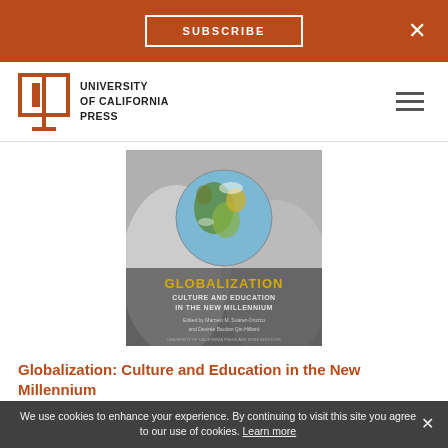SUBSCRIBE  ×
[Figure (logo): University of California Press logo — open book icon with text UNIVERSITY of CALIFORNIA PRESS]
[Figure (photo): Book cover: Globalization: Culture and Education in the New Millennium. Edited by Marcelo M. Suárez-Orozco and Desirée Baolian Qin-Hilliard. University of California Press and Ross Institute. Image shows hands cupping a globe of the Earth.]
Globalization: Culture and Education in the New Millennium
We use cookies to enhance your experience. By continuing to visit this site you agree to our use of cookies. Learn more